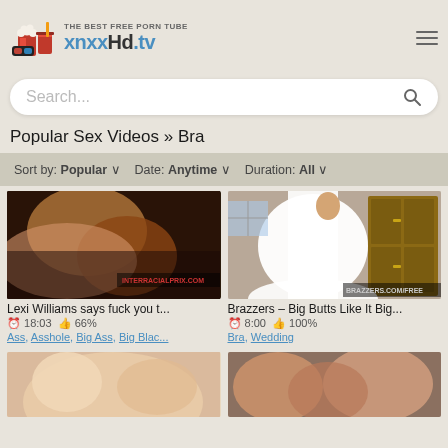THE BEST FREE PORN TUBE xnxxHd.tv
Search...
Popular Sex Videos » Bra
Sort by: Popular ∨   Date: Anytime ∨   Duration: All ∨
[Figure (screenshot): Video thumbnail - adult content]
Lexi Williams says fuck you t...
⏱ 18:03  👍 66%
Ass, Asshole, Big Ass, Big Blac...
[Figure (screenshot): Video thumbnail - Brazzers bridal scene]
Brazzers – Big Butts Like It Big...
⏱ 8:00  👍 100%
Bra, Wedding
[Figure (screenshot): Video thumbnail bottom left - partially visible]
[Figure (screenshot): Video thumbnail bottom right - partially visible]